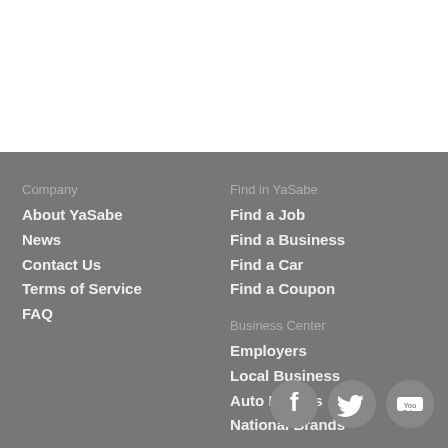Company
About YaSabe
News
Contact Us
Terms of Service
FAQ
Find in YaSabe
Find a Job
Find a Business
Find a Car
Find a Coupon
Business Center
Employers
Local Business
Auto Dealers
National Brands
[Figure (logo): Facebook, Twitter, and YouTube social media icons in white circles on gray background]